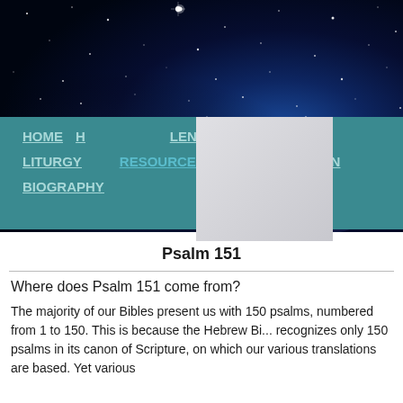[Figure (photo): Night sky with stars, deep blue and black starfield background image]
HOME  H...  LENDAR  THEMES  LITURGY  RESOURCES  TRANSLATION  BIOGRAPHY
Psalm 151
Where does Psalm 151 come from?
The majority of our Bibles present us with 150 psalms, numbered from 1 to 150. This is because the Hebrew Bi... recognizes only 150 psalms in its canon of Scripture, on which our various translations are based. Yet various